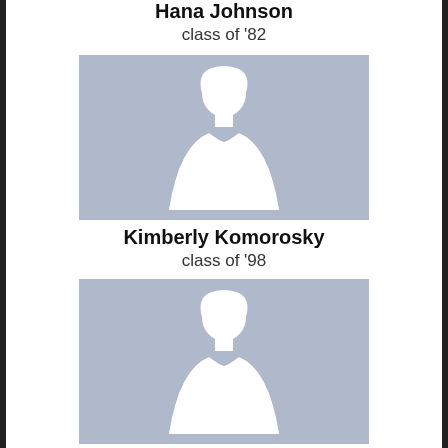Hana Johnson
class of '82
[Figure (illustration): Female silhouette placeholder profile image]
Kimberly Komorosky
class of '98
[Figure (illustration): Female silhouette placeholder profile image]
Joy Peck
class of '86
[Figure (illustration): Male silhouette placeholder profile image]
Scott Ray
class of '87